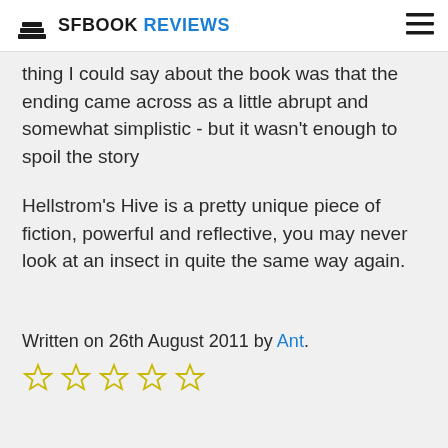SFBOOK REVIEWS
thing I could say about the book was that the ending came across as a little abrupt and somewhat simplistic - but it wasn't enough to spoil the story
Hellstrom's Hive is a pretty unique piece of fiction, powerful and reflective, you may never look at an insect in quite the same way again.
Written on 26th August 2011 by Ant.